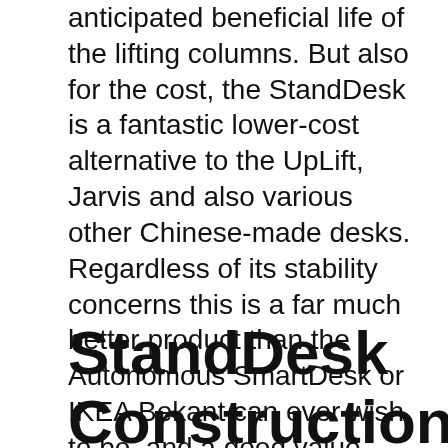anticipated beneficial life of the lifting columns. But also for the cost, the StandDesk is a fantastic lower-cost alternative to the UpLift, Jarvis and also various other Chinese-made desks. Regardless of its stability concerns this is a far much better product than the Autonomous SmartDesk or IKEA Bekant can ever wish to be, and a good value overall. It's the mid-priced offering in the wide classification of Chinese-made workdesks that is gaining customers from both its more affordable as well as costlier peers.
StandDesk Construction, Appearance, and